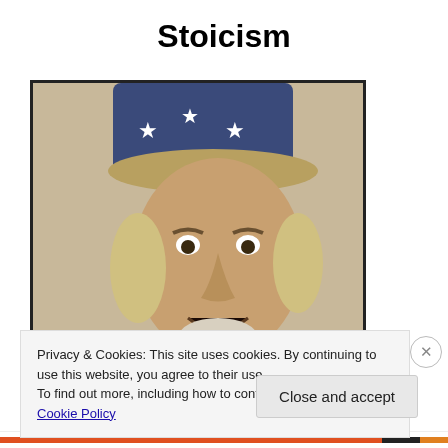Stoicism
[Figure (illustration): Stylized/painted portrait of Uncle Sam figure wearing a patriotic top hat with stars, appearing agitated or shouting, with a red bow tie and blue jacket. Dark border around image.]
Privacy & Cookies: This site uses cookies. By continuing to use this website, you agree to their use.
To find out more, including how to control cookies, see here: Cookie Policy
Close and accept